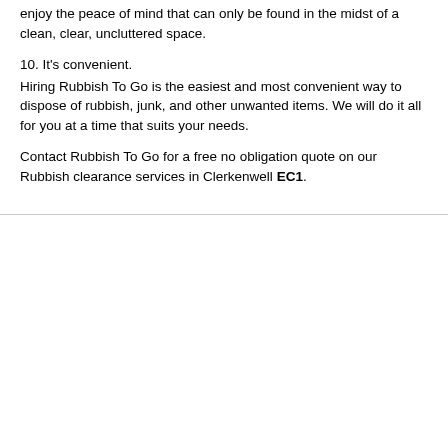enjoy the peace of mind that can only be found in the midst of a clean, clear, uncluttered space.
10. It's convenient.
Hiring Rubbish To Go is the easiest and most convenient way to dispose of rubbish, junk, and other unwanted items. We will do it all for you at a time that suits your needs.
Contact Rubbish To Go for a free no obligation quote on our Rubbish clearance services in Clerkenwell EC1.